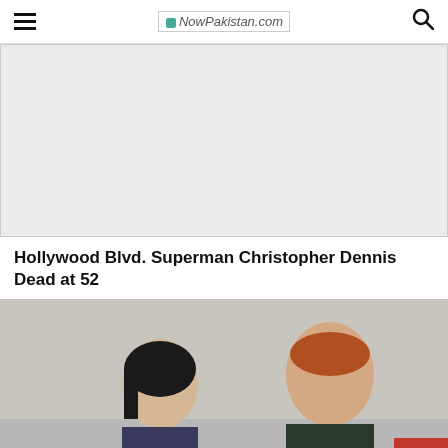NowPakistan.com
[Figure (other): Gray advertisement placeholder box]
Hollywood Blvd. Superman Christopher Dennis Dead at 52
[Figure (photo): Photo of two people, a woman with dark hair and a man with red hair, appearing to be at a public event. A red back-to-top button is overlaid in the bottom right corner.]